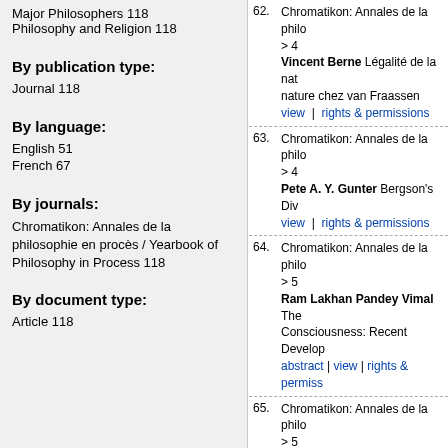Major Philosophers 118
Philosophy and Religion 118
By publication type:
Journal 118
By language:
English 51
French 67
By journals:
Chromatikon: Annales de la philosophie en procès / Yearbook of Philosophy in Process 118
By document type:
Article 118
62. Chromatikon: Annales de la philo... > 4 | Vincent Berne Légalité de la nat... nature chez van Fraassen | view | rights & permissions
63. Chromatikon: Annales de la philo... > 4 | Pete A. Y. Gunter Bergson's Div... | view | rights & permissions
64. Chromatikon: Annales de la philo... > 5 | Ram Lakhan Pandey Vimal The... Consciousness: Recent Develop... | abstract | view | rights & permiss...
65. Chromatikon: Annales de la philo... > 5 | Guillaume Durand Whitehead e... | view | rights & permissions
66. Chromatikon: Annales de la philo... > 5 | D. S. Clarke Process Philosophy... | view | rights & permissions
67. Chromatikon: Annales de la philo...